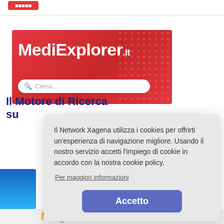[Figure (screenshot): MediExplorer.it website banner with red background, dot pattern, bold white logo text 'MediExplorer.it' and a search box with placeholder 'Cerca...']
Il Motore di Ricerca su
[Figure (screenshot): Cookie consent modal dialog with text about Xagena Network cookie policy, a 'Per maggiori informazioni' link, and an 'Accetto' button]
[Figure (logo): Bottom logos: MEO and V.it on a light bar]